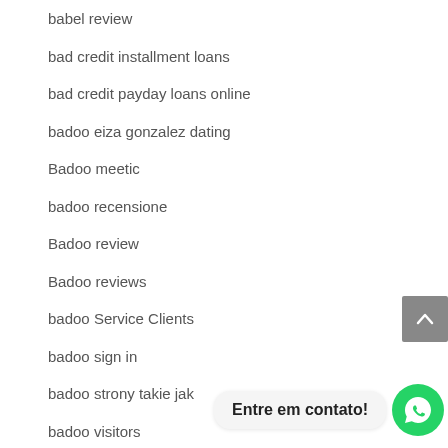babel review
bad credit installment loans
bad credit payday loans online
badoo eiza gonzalez dating
Badoo meetic
badoo recensione
Badoo review
Badoo reviews
badoo Service Clients
badoo sign in
badoo strony takie jak
badoo visitors
badoodating.de freunde